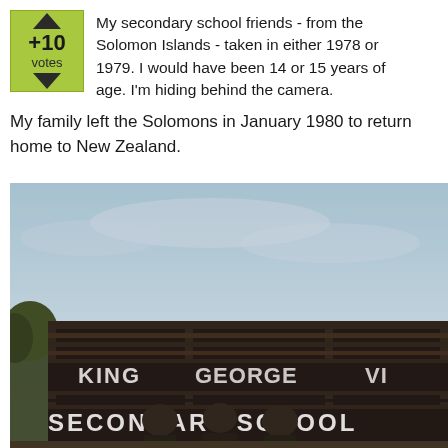+10 votes — My secondary school friends - from the Solomon Islands - taken in either 1978 or 1979. I would have been 14 or 15 years of age. I'm hiding behind the camera.
My family left the Solomons in January 1980 to return home to New Zealand.
[Figure (photo): An old photograph showing a group of secondary school students standing in front of a large school sign reading 'KING GEORGE VI SECONDARY SCHOOL'. The image appears to be from the late 1970s, taken in the Solomon Islands. The sky is pale blue and the sign has dark horizontal slats with white lettering.]